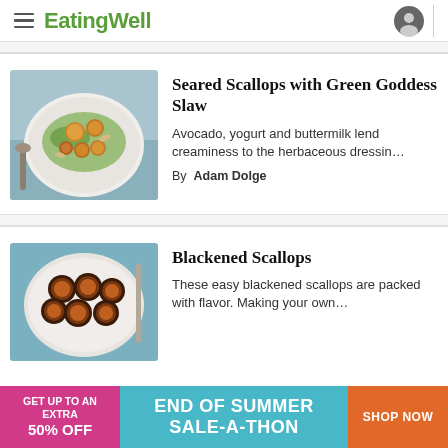EatingWell
[Figure (photo): Seared scallops on a white plate with green beans and herbs, side view with a spoon]
Seared Scallops with Green Goddess Slaw
Avocado, yogurt and buttermilk lend creaminess to the herbaceous dressin…
By Adam Dolge
[Figure (photo): Blackened scallops on a white plate, top-down view on blue background]
Blackened Scallops
These easy blackened scallops are packed with flavor. Making your own…
[Figure (infographic): Advertisement banner: GET UP TO AN EXTRA 50% OFF — END OF SUMMER SALE-A-THON — SHOP NOW]